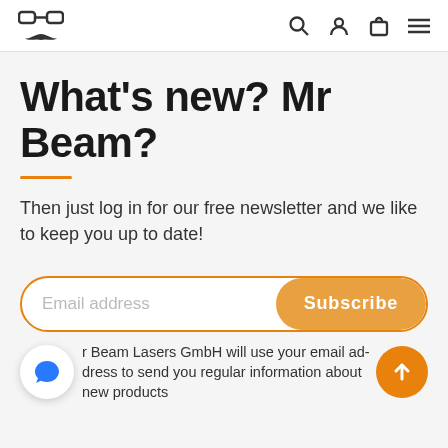Mr Beam logo with glasses and mustache icon, search icon, user icon, bag icon, menu icon
What's new? Mr Beam?
Then just log in for our free newsletter and we like to keep you up to date!
Email address [Subscribe button]
r Beam Lasers GmbH will use your email address to send you regular information about new products